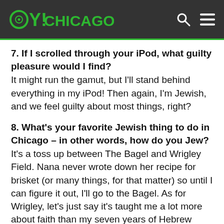OY!CHICAGO
7. If I scrolled through your iPod, what guilty pleasure would I find?
It might run the gamut, but I'll stand behind everything in my iPod! Then again, I'm Jewish, and we feel guilty about most things, right?
8. What's your favorite Jewish thing to do in Chicago – in other words, how do you Jew?
It's a toss up between The Bagel and Wrigley Field. Nana never wrote down her recipe for brisket (or many things, for that matter) so until I can figure it out, I'll go to the Bagel. As for Wrigley, let's just say it's taught me a lot more about faith than my seven years of Hebrew